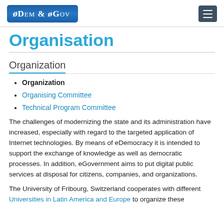[Figure (logo): eDem & eGov logo — blue rounded rectangle with white text]
Organisation
Organization
Organization
Organising Committee
Technical Program Committee
The challenges of modernizing the state and its administration have increased, especially with regard to the targeted application of Internet technologies. By means of eDemocracy it is intended to support the exchange of knowledge as well as democratic processes. In addition, eGovernment aims to put digital public services at disposal for citizens, companies, and organizations.
The University of Fribourg, Switzerland cooperates with different Universities in Latin America and Europe to organize these